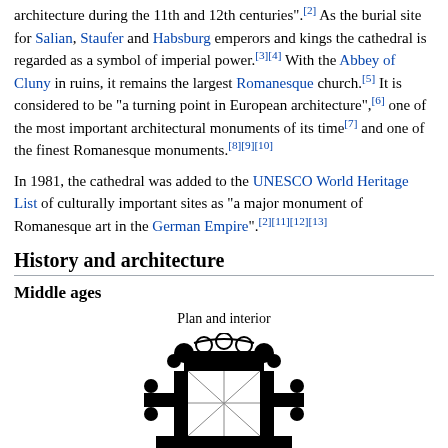architecture during the 11th and 12th centuries".[2] As the burial site for Salian, Staufer and Habsburg emperors and kings the cathedral is regarded as a symbol of imperial power.[3][4] With the Abbey of Cluny in ruins, it remains the largest Romanesque church.[5] It is considered to be "a turning point in European architecture",[6] one of the most important architectural monuments of its time[7] and one of the finest Romanesque monuments.[8][9][10]
In 1981, the cathedral was added to the UNESCO World Heritage List of culturally important sites as "a major monument of Romanesque art in the German Empire".[2][11][12][13]
History and architecture
Middle ages
Plan and interior
[Figure (illustration): Architectural floor plan of a Romanesque cathedral showing apse, nave, and transept in black and white]